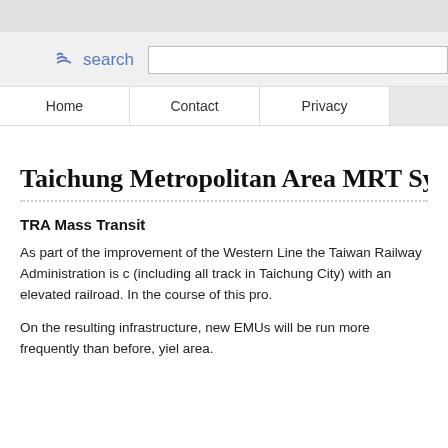search
Home | Contact | Privacy
Taichung Metropolitan Area MRT System - T
TRA Mass Transit
As part of the improvement of the Western Line the Taiwan Railway Administration is c (including all track in Taichung City) with an elevated railroad. In the course of this pro.
On the resulting infrastructure, new EMUs will be run more frequently than before, yiel area.